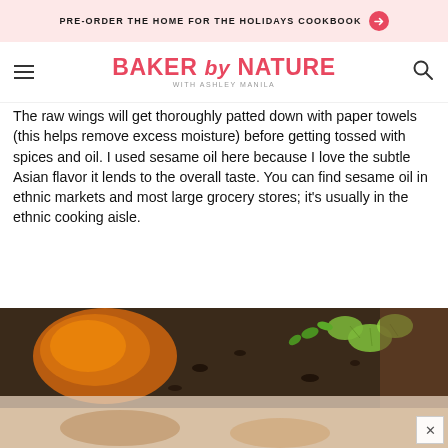PRE-ORDER THE HOME FOR THE HOLIDAYS COOKBOOK →
BAKER by NATURE WITH ASHLEY MANILA
The raw wings will get thoroughly patted down with paper towels (this helps remove excess moisture) before getting tossed with spices and oil. I used sesame oil here because I love the subtle Asian flavor it lends to the overall taste. You can find sesame oil in ethnic markets and most large grocery stores; it's usually in the ethnic cooking aisle.
[Figure (photo): Overhead view of cooked chicken wings on a dark baking tray with lime wedges and fresh cilantro garnish. A semi-transparent overlay covers the lower portion.]